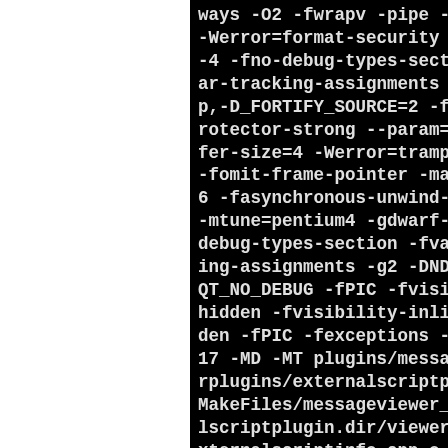ways -O2 -fwrapv -pipe -W -Werror=format-security -g -4 -fno-debug-types-sectio ar-tracking-assignments -g p,-D_FORTIFY_SOURCE=2 -fst rotector-strong --param=ss fer-size=4 -Werror=trampo -fomit-frame-pointer -marc 6 -fasynchronous-unwind-ta -mtune=pentium4 -gdwarf-4 debug-types-section -fvar- ing-assignments -g2 -DNDEB QT_NO_DEBUG -fPIC -fvisib hidden -fvisibility-inline den -fPIC -fexceptions -st 17 -MD -MT plugins/message rplugins/externalscriptplu MakeFiles/messageviewer_ex lscriptplugin.dir/viewerpi xternalscriptinfo.cpp.o -M gins/messageviewerplugins/ nalscriptplugin/CMakeFiles ageviewer_externalscriptp dir/viewerpluginexternals